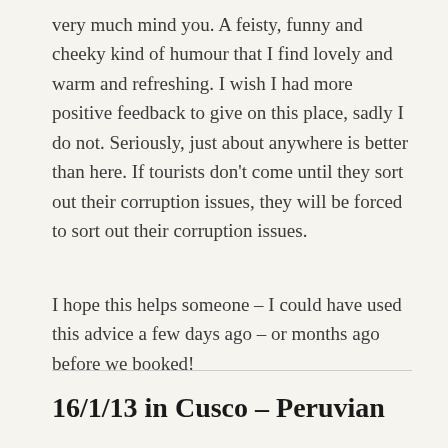very much mind you. A feisty, funny and cheeky kind of humour that I find lovely and warm and refreshing. I wish I had more positive feedback to give on this place, sadly I do not. Seriously, just about anywhere is better than here. If tourists don't come until they sort out their corruption issues, they will be forced to sort out their corruption issues.
I hope this helps someone – I could have used this advice a few days ago – or months ago before we booked!
16/1/13 in Cusco – Peruvian